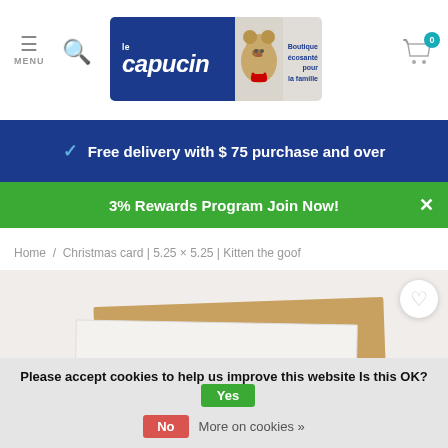[Figure (logo): Le Capucin logo — blue rectangle with white italic text 'Le Capucin', teddy bear image, and tagline 'Boutique écosanté pour la famille']
Free delivery with $ 75 purchase and over
3% Rewards Program Join Now!
Home / Christmas card | 5.25 × 5.25 | Kitten the goof
[Figure (photo): Product image showing a square Christmas card with kraft paper envelope on a light beige background]
Please accept cookies to help us improve this website Is this OK?
No   More on cookies »
Yes